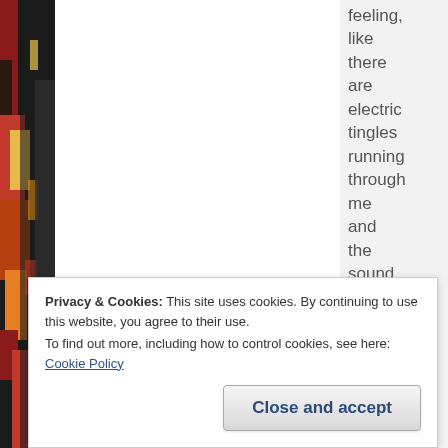[Figure (illustration): Colorful stained-glass-like artwork visible on left and right edges of the page, with reds, yellows, oranges, blacks — appears to be a website background image.]
feeling,
like
there
are
electric
tingles
running
through
me
and
the
sound
is
drowning
me
somehow.

Florescent
Privacy & Cookies: This site uses cookies. By continuing to use this website, you agree to their use.
To find out more, including how to control cookies, see here: Cookie Policy
Close and accept